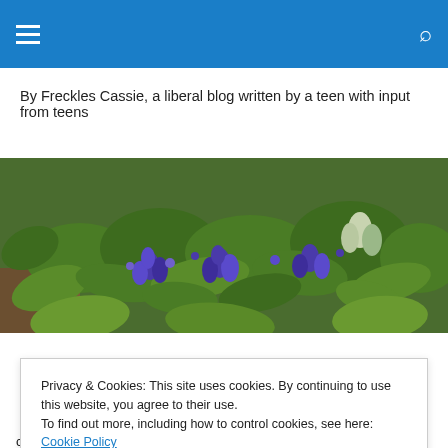Navigation bar with hamburger menu and search icon
By Freckles Cassie, a liberal blog written by a teen with input from teens
[Figure (photo): Banner photo of bluebonnet wildflowers with green leaves, purple and white blooms]
Privacy & Cookies: This site uses cookies. By continuing to use this website, you agree to their use.
To find out more, including how to control cookies, see here: Cookie Policy
[Close and accept button]
current events assignment. I don't think I am using this